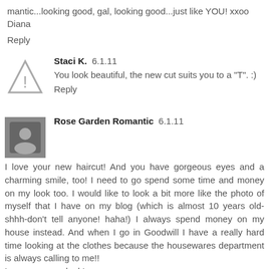mantic...looking good, gal, looking good...just like YOU! xxoo
Diana
Reply
Staci K.  6.1.11
You look beautiful, the new cut suits you to a "T". :)
Reply
Rose Garden Romantic  6.1.11
I love your new haircut! And you have gorgeous eyes and a charming smile, too! I need to go spend some time and money on my look too. I would like to look a bit more like the photo of myself that I have on my blog (which is almost 10 years old- shhh-don't tell anyone! haha!) I always spend money on my house instead. And when I go in Goodwill I have a really hard time looking at the clothes because the housewares department is always calling to me!!
Love your new look!
Hugs,